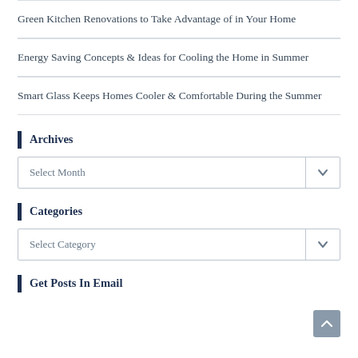Green Kitchen Renovations to Take Advantage of in Your Home
Energy Saving Concepts & Ideas for Cooling the Home in Summer
Smart Glass Keeps Homes Cooler & Comfortable During the Summer
Archives
Select Month
Categories
Select Category
Get Posts In Email